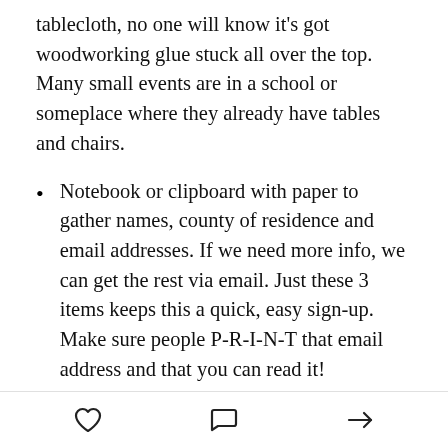tablecloth, no one will know it's got woodworking glue stuck all over the top. Many small events are in a school or someplace where they already have tables and chairs.
Notebook or clipboard with paper to gather names, county of residence and email addresses. If we need more info, we can get the rest via email. Just these 3 items keeps this a quick, easy sign-up. Make sure people P-R-I-N-T that email address and that you can read it!
Biz cards or flyers so people can walk away with something. If you want a KAWW flyer, I'll send you one via email to print up. If you want WAPF brochures, let me know and I'll see what I can